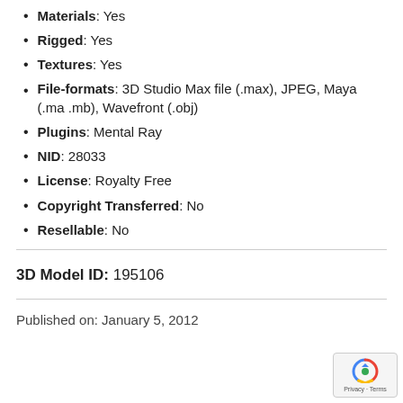Materials: Yes
Rigged: Yes
Textures: Yes
File-formats: 3D Studio Max file (.max), JPEG, Maya (.ma .mb), Wavefront (.obj)
Plugins: Mental Ray
NID: 28033
License: Royalty Free
Copyright Transferred: No
Resellable: No
3D Model ID: 195106
Published on: January 5, 2012